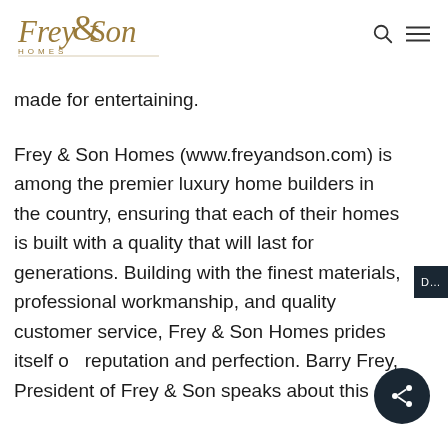Frey & Son Homes
made for entertaining.
Frey & Son Homes (www.freyandson.com) is among the premier luxury home builders in the country, ensuring that each of their homes is built with a quality that will last for generations. Building with the finest materials, professional workmanship, and quality customer service, Frey & Son Homes prides itself on reputation and perfection. Barry Frey, President of Frey & Son speaks about this